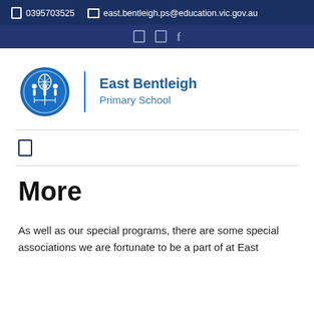☎ 0395703525  ✉ east.bentleigh.ps@education.vic.gov.au
[Figure (logo): East Bentleigh Primary School logo with circular blue emblem showing stylized trees and figures, beside text 'East Bentleigh Primary School']
More
As well as our special programs, there are some special associations we are fortunate to be a part of at East